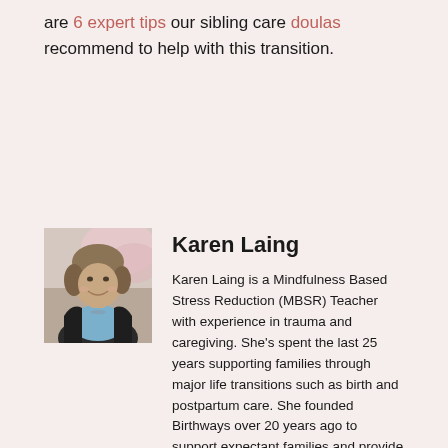are 6 expert tips our sibling care doulas recommend to help with this transition.
[Figure (photo): Headshot of Karen Laing, a woman smiling, wearing a black cardigan over a light blue top, with pink blossoms in the background.]
Karen Laing
Karen Laing is a Mindfulness Based Stress Reduction (MBSR) Teacher with experience in trauma and caregiving. She's spent the last 25 years supporting families through major life transitions such as birth and postpartum care. She founded Birthways over 20 years ago to support expectant families and provide training and support for birthworkers. She created WisdomWay as a means